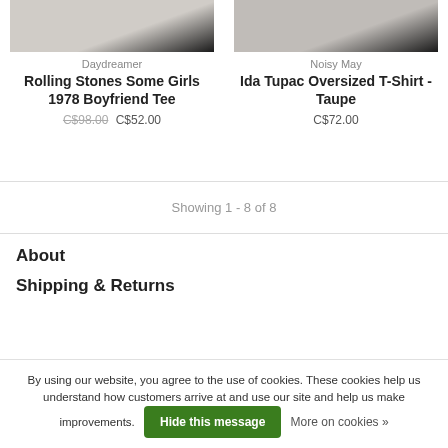[Figure (photo): Product image of Rolling Stones Some Girls 1978 Boyfriend Tee from Daydreamer, shown on model, left column]
Daydreamer
Rolling Stones Some Girls 1978 Boyfriend Tee
C$98.00   C$52.00
[Figure (photo): Product image of Ida Tupac Oversized T-Shirt Taupe from Noisy May, shown on model, right column]
Noisy May
Ida Tupac Oversized T-Shirt - Taupe
C$72.00
Showing 1 - 8 of 8
About
Shipping & Returns
By using our website, you agree to the use of cookies. These cookies help us understand how customers arrive at and use our site and help us make improvements.
Hide this message
More on cookies »